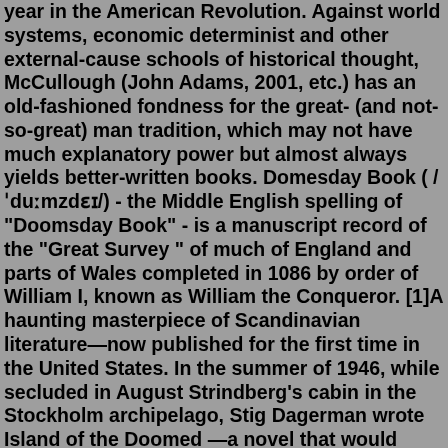year in the American Revolution. Against world systems, economic determinist and other external-cause schools of historical thought, McCullough (John Adams, 2001, etc.) has an old-fashioned fondness for the great- (and not-so-great) man tradition, which may not have much explanatory power but almost always yields better-written books. Domesday Book ( /ˈduːmzdɛɪ/) - the Middle English spelling of "Doomsday Book" - is a manuscript record of the "Great Survey" of much of England and parts of Wales completed in 1086 by order of William I, known as William the Conqueror. [1]A haunting masterpiece of Scandinavian literature—now published for the first time in the United States. In the summer of 1946, while secluded in August Strindberg's cabin in the Stockholm archipelago, Stig Dagerman wrote Island of the Doomed —a novel that would establish him as Sweden's brightest literary star. To this day it is a ...Jul 15, 2014 · Welcome to Purgatory. Chuck Palahniuk style.&#160; After a botched Halloween ritual, Madison Spencer, the